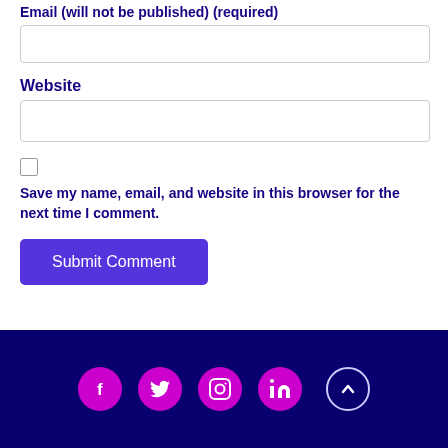Email (will not be published) (required)
Website
Save my name, email, and website in this browser for the next time I comment.
Submit Comment
[Figure (other): Footer bar with dark navy background containing four social media icon circles (Facebook, Twitter, Instagram, LinkedIn) in magenta/pink color and an up-arrow circle button in outline style]